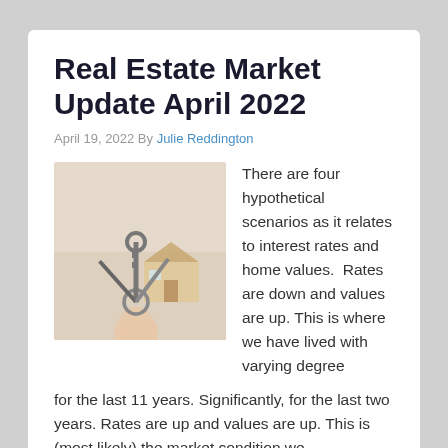Real Estate Market Update April 2022
April 19, 2022 By Julie Reddington
[Figure (photo): A hand holding a bunch of keys with a small model house in the background, suggesting real estate or home ownership.]
There are four hypothetical scenarios as it relates to interest rates and home values.  Rates are down and values are up. This is where we have lived with varying degree for the last 11 years. Significantly, for the last two years. Rates are up and values are up. This is (most likely) the market condition we